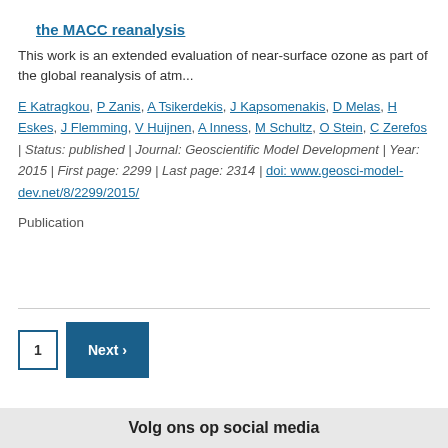the MACC reanalysis
This work is an extended evaluation of near-surface ozone as part of the global reanalysis of atm...
E Katragkou, P Zanis, A Tsikerdekis, J Kapsomenakis, D Melas, H Eskes, J Flemming, V Huijnen, A Inness, M Schultz, O Stein, C Zerefos | Status: published | Journal: Geoscientific Model Development | Year: 2015 | First page: 2299 | Last page: 2314 | doi: www.geosci-model-dev.net/8/2299/2015/
Publication
Volg ons op social media